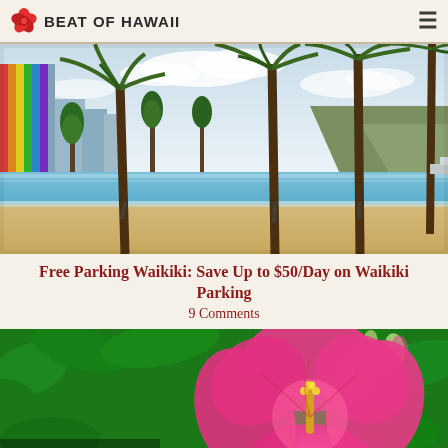BEAT OF HAWAii
[Figure (photo): Waikiki beach scene with Diamond Head mountain, palm trees, calm water reflection, sandy beach, and Rainbow Tower hotel in background]
Free Parking Waikiki: Save Up to $50/Day on Waikiki Parking
9 Comments
[Figure (photo): Close-up of a bright pink hibiscus flower with yellow center against green foliage background]
[Figure (infographic): Advertisement bar: Career Exploration by CareerXpl with Open button]